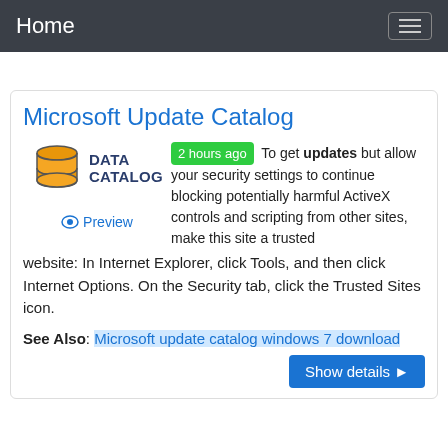Home
Microsoft Update Catalog
[Figure (logo): Data Catalog logo with orange database icon and 'DATA CATALOG' text]
2 hours ago — To get updates but allow your security settings to continue blocking potentially harmful ActiveX controls and scripting from other sites, make this site a trusted website: In Internet Explorer, click Tools, and then click Internet Options. On the Security tab, click the Trusted Sites icon.
Preview
See Also: Microsoft update catalog windows 7 download
Show details ▶